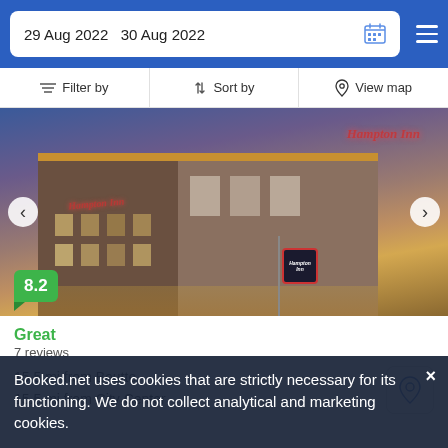29 Aug 2022  30 Aug 2022
Filter by  Sort by  View map
[Figure (photo): Hampton Inn hotel exterior at dusk/night with illuminated sign and neon Hampton Inn logo, brick building, blue-purple sky background]
8.2
Great
7 reviews
15.5 mi from Boutte
15.5 mi from City Center
Booked.net uses cookies that are strictly necessary for its functioning. We do not collect analytical and marketing cookies.
from US$ 154 /night